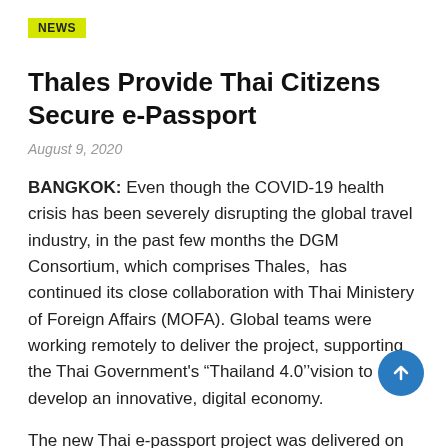NEWS
Thales Provide Thai Citizens Secure e-Passport
August 9, 2020
BANGKOK: Even though the COVID-19 health crisis has been severely disrupting the global travel industry, in the past few months the DGM Consortium, which comprises Thales,  has continued its close collaboration with Thai Ministery of Foreign Affairs (MOFA). Global teams were working remotely to deliver the project, supporting the Thai Government's “Thailand 4.0’’vision to develop an innovative, digital economy.
The new Thai e-passport project was delivered on